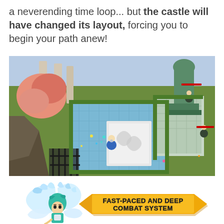a neverending time loop... but the castle will have changed its layout, forcing you to begin your path anew!
[Figure (screenshot): Isometric top-down view of a castle courtyard in a video game, showing a character fighting enemies on blue and white tiled floors with green hedges, columns, and a large green statue.]
[Figure (illustration): A fantasy character with white feathered wings and teal hair overlapping a yellow hexagonal banner that reads FAST-PACED AND DEEP COMBAT SYSTEM in bold black outlined text.]